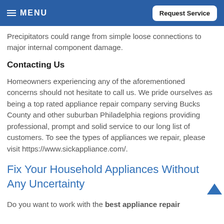MENU | Request Service
Precipitators could range from simple loose connections to major internal component damage.
Contacting Us
Homeowners experiencing any of the aforementioned concerns should not hesitate to call us. We pride ourselves as being a top rated appliance repair company serving Bucks County and other suburban Philadelphia regions providing professional, prompt and solid service to our long list of customers. To see the types of appliances we repair, please visit https://www.sickappliance.com/.
Fix Your Household Appliances Without Any Uncertainty
Do you want to work with the best appliance repair